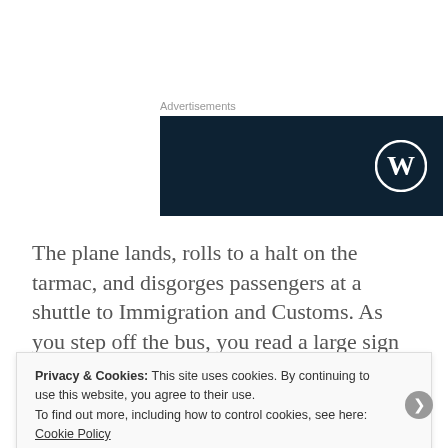Advertisements
[Figure (logo): WordPress advertisement banner — dark navy background with WordPress logo (W in circle) on the right side]
The plane lands, rolls to a halt on the tarmac, and disgorges passengers at a shuttle to Immigration and Customs. As you step off the bus, you read a large sign that announces in bold letters:
Due to a Recent Outbreak of Yellow Fever,
Privacy & Cookies: This site uses cookies. By continuing to use this website, you agree to their use.
To find out more, including how to control cookies, see here: Cookie Policy
Close and accept